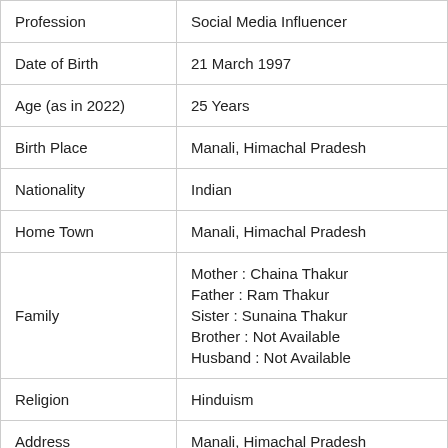|  |  |
| --- | --- |
| Profession | Social Media Influencer |
| Date of Birth | 21 March 1997 |
| Age (as in 2022) | 25 Years |
| Birth Place | Manali, Himachal Pradesh |
| Nationality | Indian |
| Home Town | Manali, Himachal Pradesh |
| Family | Mother : Chaina Thakur
Father : Ram Thakur
Sister : Sunaina Thakur
Brother : Not Available
Husband : Not Available |
| Religion | Hinduism |
| Address | Manali, Himachal Pradesh |